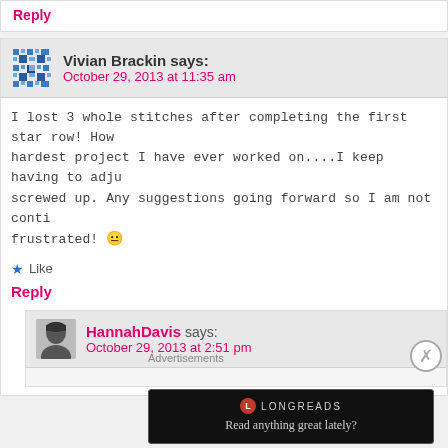Reply
Vivian Brackin says: October 29, 2013 at 11:35 am
I lost 3 whole stitches after completing the first star row! How hardest project I have ever worked on....I keep having to adju screwed up. Any suggestions going forward so I am not conti frustrated! 😐
★ Like
Reply
HannahDavis says: October 29, 2013 at 2:51 pm
Advertisements
[Figure (screenshot): Longreads advertisement banner with dark background reading 'Read anything great lately?']